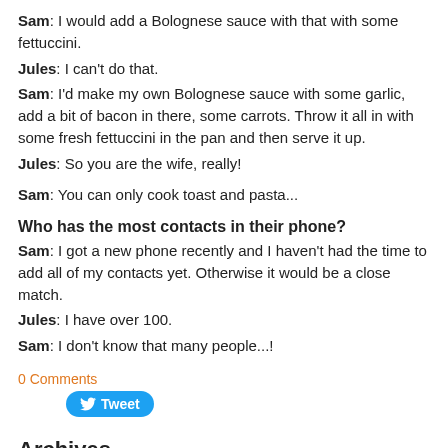Sam: I would add a Bolognese sauce with that with some fettuccini.
Jules: I can't do that.
Sam: I'd make my own Bolognese sauce with some garlic, add a bit of bacon in there, some carrots. Throw it all in with some fresh fettuccini in the pan and then serve it up.
Jules: So you are the wife, really!
Sam: You can only cook toast and pasta...
Who has the most contacts in their phone?
Sam: I got a new phone recently and I haven't had the time to add all of my contacts yet. Otherwise it would be a close match.
Jules: I have over 100.
Sam: I don't know that many people...!
0 Comments
Tweet
Archives
June 2010